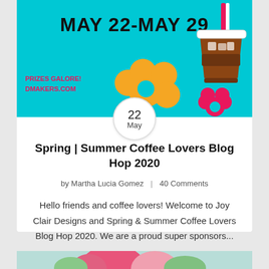[Figure (illustration): Blog hop banner with teal background, orange and pink flowers, iced coffee cup, and text 'MAY 22-MAY 29' with 'PRIZES GALORE! DMAKERS.COM']
22
May
Spring | Summer Coffee Lovers Blog Hop 2020
by Martha Lucia Gomez  |  40 Comments
Hello friends and coffee lovers! Welcome to Joy Clair Designs and Spring & Summer Coffee Lovers Blog Hop 2020. We are a proud super sponsors...
[Figure (photo): Bottom partial image peeking — pink floral image]